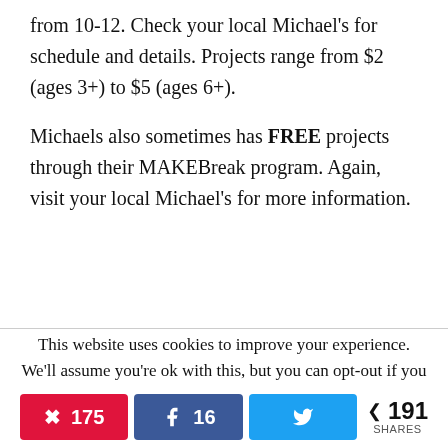from 10-12.  Check your local Michael's for schedule and details.  Projects range from $2 (ages 3+) to $5 (ages 6+).
Michaels also sometimes has FREE projects through their MAKEBreak program.  Again, visit your local Michael's for more information.
This website uses cookies to improve your experience. We'll assume you're ok with this, but you can opt-out if you